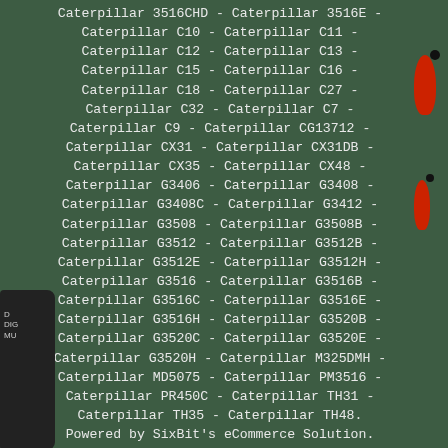Caterpillar 3516CHD - Caterpillar 3516E - Caterpillar C10 - Caterpillar C11 - Caterpillar C12 - Caterpillar C13 - Caterpillar C15 - Caterpillar C16 - Caterpillar C18 - Caterpillar C27 - Caterpillar C32 - Caterpillar C7 - Caterpillar C9 - Caterpillar CG13712 - Caterpillar CX31 - Caterpillar CX31DB - Caterpillar CX35 - Caterpillar CX48 - Caterpillar G3406 - Caterpillar G3408 - Caterpillar G3408C - Caterpillar G3412 - Caterpillar G3508 - Caterpillar G3508B - Caterpillar G3512 - Caterpillar G3512B - Caterpillar G3512E - Caterpillar G3512H - Caterpillar G3516 - Caterpillar G3516B - Caterpillar G3516C - Caterpillar G3516E - Caterpillar G3516H - Caterpillar G3520B - Caterpillar G3520C - Caterpillar G3520E - Caterpillar G3520H - Caterpillar M325DMH - Caterpillar MD5075 - Caterpillar PM3516 - Caterpillar PR450C - Caterpillar TH31 - Caterpillar TH35 - Caterpillar TH48. Powered by SixBit's eCommerce Solution. This item is in the category "eBay Motors\Parts & Accessories\Car & Truck Parts & Accessories\Starters, Alternators, ECUs & Wiring\Alternators & Generators". The seller is "heart-landstarters" and is